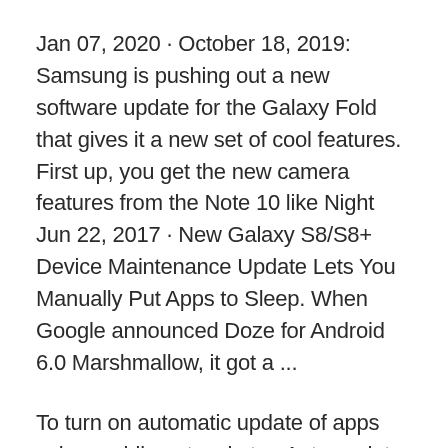Jan 07, 2020 · October 18, 2019: Samsung is pushing out a new software update for the Galaxy Fold that gives it a new set of cool features. First up, you get the new camera features from the Note 10 like Night Jun 22, 2017 · New Galaxy S8/S8+ Device Maintenance Update Lets You Manually Put Apps to Sleep. When Google announced Doze for Android 6.0 Marshmallow, it got a ...
To turn on automatic update of apps using mobile network, tap Auto-update apps at any time. Data charges may apply.. If you turn on automatic update of apps via mobile network, your apps are automatically updated via the mobile network when no Wi-Fi networks are